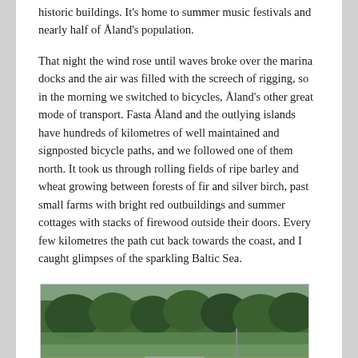historic buildings. It's home to summer music festivals and nearly half of Åland's population.
That night the wind rose until waves broke over the marina docks and the air was filled with the screech of rigging, so in the morning we switched to bicycles, Åland's other great mode of transport. Fasta Åland and the outlying islands have hundreds of kilometres of well maintained and signposted bicycle paths, and we followed one of them north. It took us through rolling fields of ripe barley and wheat growing between forests of fir and silver birch, past small farms with bright red outbuildings and summer cottages with stacks of firewood outside their doors. Every few kilometres the path cut back towards the coast, and I caught glimpses of the sparkling Baltic Sea.
[Figure (photo): A person on a bicycle on a rural road, surrounded by green trees and vegetation, with overcast sky in the background.]